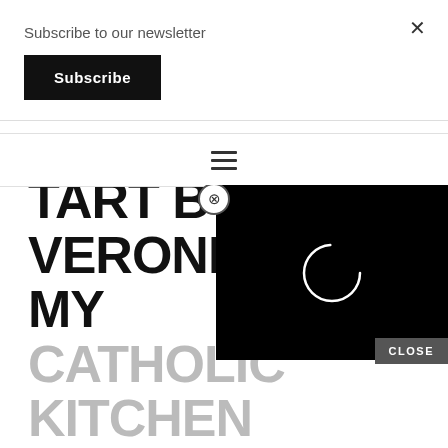Subscribe to our newsletter
Subscribe
×
[Figure (other): Hamburger menu icon with three horizontal lines]
[Figure (screenshot): Video player overlay with black background and circular loading spinner, with an X close button in the top-right area and a CLOSE button at the bottom]
BLUEBERRY TART BY VERONICA @ MY CATHOLIC KITCHEN